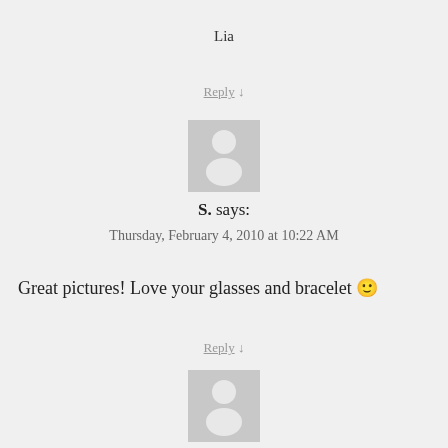Lia
Reply ↓
[Figure (illustration): Default user avatar placeholder - grey square with white silhouette of a person]
S. says:
Thursday, February 4, 2010 at 10:22 AM
Great pictures! Love your glasses and bracelet 🙂
Reply ↓
[Figure (illustration): Default user avatar placeholder - grey square with white silhouette of a person]
nuheila says:
Thursday, February 4, 2010 at 10:22 AM